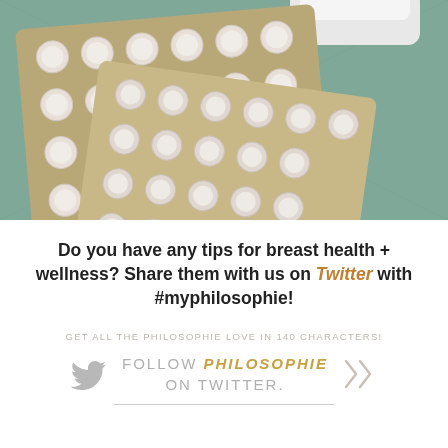[Figure (photo): Close-up photo of blister packs of white pills/tablets on a teal/green fabric background with a white pill bottle visible at the top]
Do you have any tips for breast health + wellness? Share them with us on Twitter with #myphilosophie!
GET ALL THE PHILOSOPHIE LOVE IN 140 CHARACTERS!
FOLLOW PHILOSOPHIE ON TWITTER.